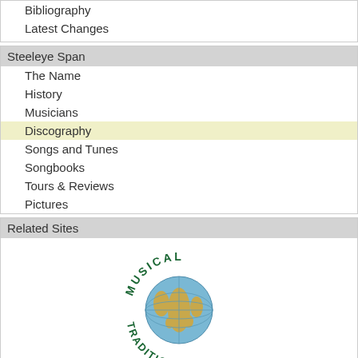Bibliography
Latest Changes
Steeleye Span
The Name
History
Musicians
Discography
Songs and Tunes
Songbooks
Tours & Reviews
Pictures
Related Sites
[Figure (logo): Musical Traditions globe logo with text arching around a globe illustration]
About / Impressum
Server: 202.61.241.101; Last updated Mon Nov 02, 2015 by Reinhard Zierke